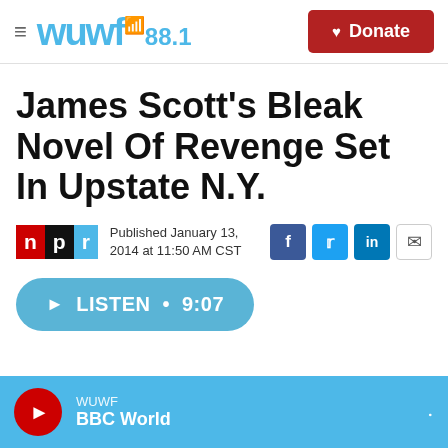WUWF 88.1 — Donate
James Scott's Bleak Novel Of Revenge Set In Upstate N.Y.
Published January 13, 2014 at 11:50 AM CST
[Figure (screenshot): LISTEN • 9:07 audio play button]
WUWF — BBC World